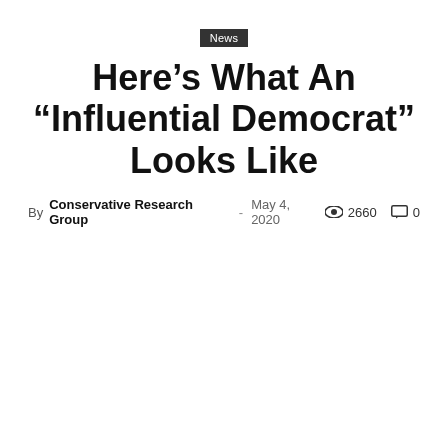News
Here’s What An “Influential Democrat” Looks Like
By Conservative Research Group - May 4, 2020   2660   0